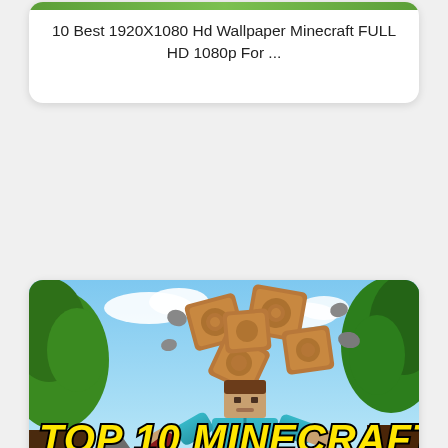10 Best 1920X1080 Hd Wallpaper Minecraft FULL HD 1080p For ...
[Figure (illustration): Minecraft-themed YouTube thumbnail showing a cartoon Steve character chopping a tree with logs flying, with large bold text 'TOP 10 MINECRAFT' in yellow and 'WALLPAPERS' in white, on a colorful illustrated background with trees and sky.]